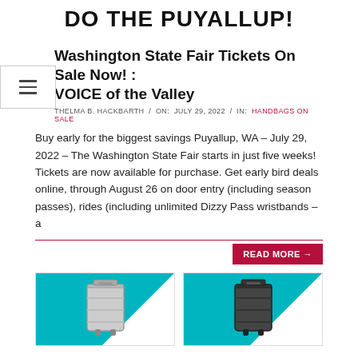DO THE PUYALLUP!
Washington State Fair Tickets On Sale Now! : VOICE of the Valley
THELMA B. HACKBARTH / ON: JULY 29, 2022 / IN: HANDBAGS ON SALE
Buy early for the biggest savings Puyallup, WA – July 29, 2022 – The Washington State Fair starts in just five weeks! Tickets are now available for purchase. Get early bird deals online, through August 26 on door entry (including season passes), rides (including unlimited Dizzy Pass wristbands – a
READ MORE →
[Figure (photo): Two silver/black rolling suitcases displayed on teal backgrounds with white triangle design elements]